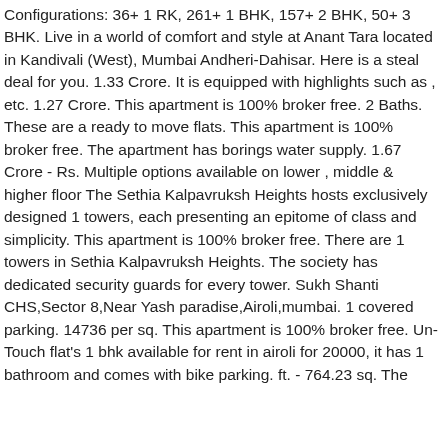Configurations: 36+ 1 RK, 261+ 1 BHK, 157+ 2 BHK, 50+ 3 BHK. Live in a world of comfort and style at Anant Tara located in Kandivali (West), Mumbai Andheri-Dahisar. Here is a steal deal for you. 1.33 Crore. It is equipped with highlights such as , etc. 1.27 Crore. This apartment is 100% broker free. 2 Baths. These are a ready to move flats. This apartment is 100% broker free. The apartment has borings water supply. 1.67 Crore - Rs. Multiple options available on lower , middle & higher floor The Sethia Kalpavruksh Heights hosts exclusively designed 1 towers, each presenting an epitome of class and simplicity. This apartment is 100% broker free. There are 1 towers in Sethia Kalpavruksh Heights. The society has dedicated security guards for every tower. Sukh Shanti CHS,Sector 8,Near Yash paradise,Airoli,mumbai. 1 covered parking. 14736 per sq. This apartment is 100% broker free. Un-Touch flat's 1 bhk available for rent in airoli for 20000, it has 1 bathroom and comes with bike parking. ft. - 764.23 sq. The